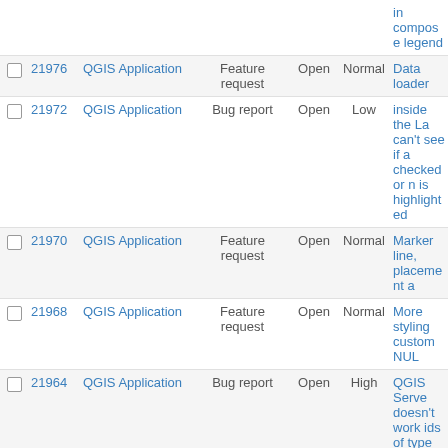|  | # | Project | Type | Status | Priority | Subject |
| --- | --- | --- | --- | --- | --- | --- |
|  |  |  |  |  |  | in composer legend |
| ☐ | 21976 | QGIS Application | Feature request | Open | Normal | Data loader... |
| ☐ | 21972 | QGIS Application | Bug report | Open | Low | inside the La... can't see if a... checked or n... is highlighted... |
| ☐ | 21970 | QGIS Application | Feature request | Open | Normal | Marker line, placement a... |
| ☐ | 21968 | QGIS Application | Feature request | Open | Normal | More styling custom NUL... |
| ☐ | 21964 | QGIS Application | Bug report | Open | High | QGIS Serve doesn't work ids of type bi... |
| ☐ | 21952 | QGIS Application | Bug report | Open | Normal | QGIS Serve provide type... |
| ☐ | 21950 | QGIS Application | Bug report | Open | Normal | layer proper labels |
| ☐ | 21949 | QGIS Application | Bug report | Open | High | Processing C tools: encodi outputs |
| ☐ | 21945 | QGIS Application | Feature request | Open | Normal | Add support blindness ty Modes |
| ☐ | 21942 | QGIS Application | Feature request | Open | Normal | Global Setti Decorations projects/sess |
| ☐ | 21941 | QGIS Application | Feature request | Open | Normal | ScaleBar te able to be ch for rounding/ changes |
| ☐ | 21940 | QGIS Application | Feature request | Open | Normal | P... |